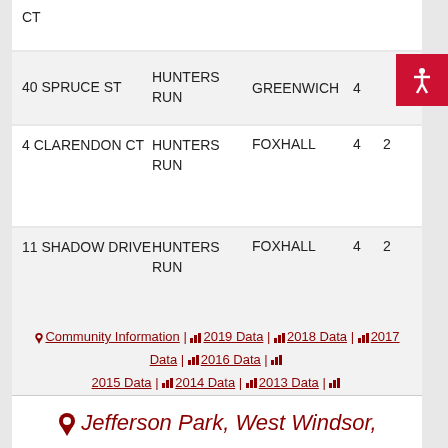| Address | Subdivision | City | Beds | Baths |
| --- | --- | --- | --- | --- |
| CT |  |  |  |  |
| 40 SPRUCE ST | HUNTERS RUN | GREENWICH | 4 |  |
| 4 CLARENDON CT | HUNTERS RUN | FOXHALL | 4 | 2 |
| 11 SHADOW DRIVE | HUNTERS RUN | FOXHALL | 4 | 2 |
Community Information | 2019 Data | 2018 Data | 2017 Data | 2016 Data | 2015 Data | 2014 Data | 2013 Data | 2012 Data | 2011 Data
Jefferson Park, West Windsor,